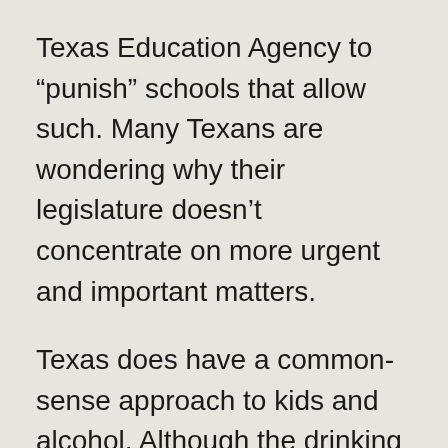Texas Education Agency to “punish” schools that allow such. Many Texans are wondering why their legislature doesn’t concentrate on more urgent and important matters.
Texas does have a common-sense approach to kids and alcohol. Although the drinking age in Texas is 21, as in every other US state, kids can go anywhere and do anything WITH their parents. Ross was allowed to accompany me (and her uncle Ian) into a tapas bar in Austin, and was even given complimentary Valentine’s Day champagne, since I am obviously her mother, and I gave permission.